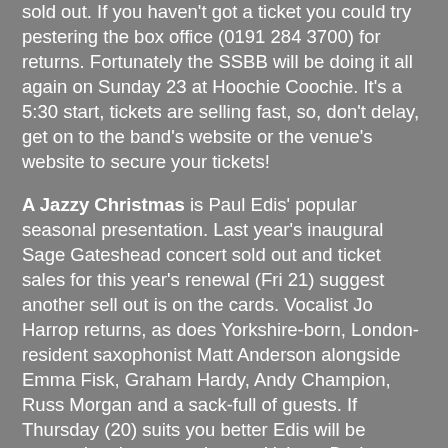sold out. If you haven't got a ticket you could try pestering the box office (0191 284 3700) for returns. Fortunately the SSBB will be doing it all again on Sunday 23 at Hoochie Coochie. It's a 5:30 start, tickets are selling fast, so, don't delay, get on to the band's website or the venue's website to secure your tickets!
A Jazzy Christmas is Paul Edis' popular seasonal presentation. Last year's inaugural Sage Gateshead concert sold out and ticket sales for this year's renewal (Fri 21) suggest another sell out is on the cards. Vocalist Jo Harrop returns, as does Yorkshire-born, London-resident saxophonist Matt Anderson alongside Emma Fisk, Graham Hardy, Andy Champion, Russ Morgan and a sack-full of guests. If Thursday (20) suits you better Edis will be presenting the same show at Ushaw, Durham with John Garner on violin in place of the indisposed Fisk.
Christmas Eve...what do you mean you're busy? Hand to Mouth - that's Lindsay Hannon and Bradley Johnston - will be playing tunes from 11:00am at Ernest on Boyd Street, Newcastle. It's free admission, treat yourself to a coffee and